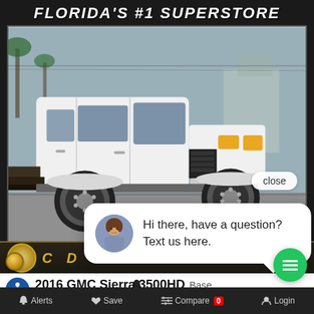[Figure (screenshot): Screenshot of a car dealership website showing a 2016 GMC Sierra 3500HD flatbed truck with the heading FLORIDA'S #1 SUPERSTORE. A chat popup is visible saying 'Hi there, have a question? Text us here.' The page has a dark dealer card frame with gold accents, a close button, accessibility icon, bell notification, and a bottom navigation bar with Alerts, Save, Compare (0), and Login options. A green chat button is visible at the bottom right.]
FLORIDA'S #1 SUPERSTORE
Hi there, have a question? Text us here.
close
2016 GMC Sierra 3500HD Base
Alerts  Save  Compare 0  Login